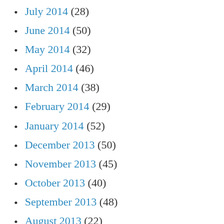July 2014 (28)
June 2014 (50)
May 2014 (32)
April 2014 (46)
March 2014 (38)
February 2014 (29)
January 2014 (52)
December 2013 (50)
November 2013 (45)
October 2013 (40)
September 2013 (48)
August 2013 (22)
July 2013 (25)
June 2013 (13)
May 2013 (16)
April 2013 (28)
March 2013 (37)